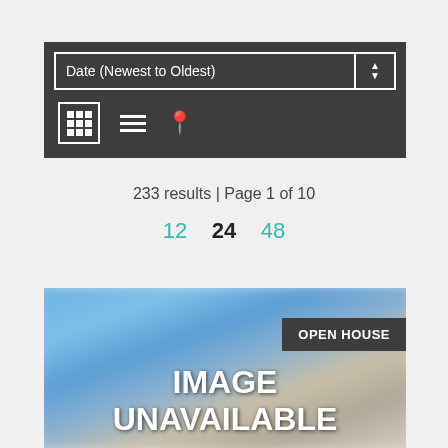[Figure (screenshot): Toolbar with sort dropdown showing 'Date (Newest to Oldest)' and view toggle icons (grid, list, map pin)]
233 results | Page 1 of 10
12   24   48
[Figure (photo): Blurred real estate property image with 'OPEN HOUSE' badge and 'IMAGE UNAVAILABLE' overlay text]